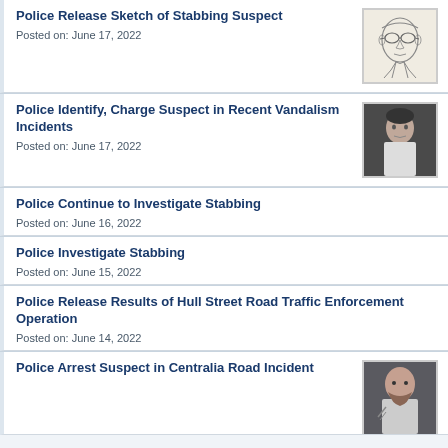Police Release Sketch of Stabbing Suspect
Posted on: June 17, 2022
[Figure (illustration): Police sketch of a suspect wearing glasses]
Police Identify, Charge Suspect in Recent Vandalism Incidents
Posted on: June 17, 2022
[Figure (photo): Mugshot photo of suspect in white t-shirt against dark background]
Police Continue to Investigate Stabbing
Posted on: June 16, 2022
Police Investigate Stabbing
Posted on: June 15, 2022
Police Release Results of Hull Street Road Traffic Enforcement Operation
Posted on: June 14, 2022
Police Arrest Suspect in Centralia Road Incident
[Figure (photo): Mugshot photo of bald tattooed suspect]